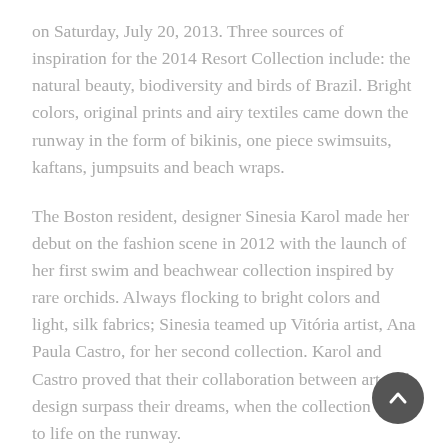on Saturday, July 20, 2013. Three sources of inspiration for the 2014 Resort Collection include: the natural beauty, biodiversity and birds of Brazil. Bright colors, original prints and airy textiles came down the runway in the form of bikinis, one piece swimsuits, kaftans, jumpsuits and beach wraps.
The Boston resident, designer Sinesia Karol made her debut on the fashion scene in 2012 with the launch of her first swim and beachwear collection inspired by rare orchids. Always flocking to bright colors and light, silk fabrics; Sinesia teamed up Vitória artist, Ana Paula Castro, for her second collection. Karol and Castro proved that their collaboration between art and design surpass their dreams, when the collection came to life on the runway.
The four emblematic Brazilian birds from which Karol drew inspiration are the Rufous-Bellied Thrush, the Parakeet, the Humming Bird and the Canary, considered the most inspiring of Brazilian birds and consequently, the most acclaimed and familiar in the popular and cultural